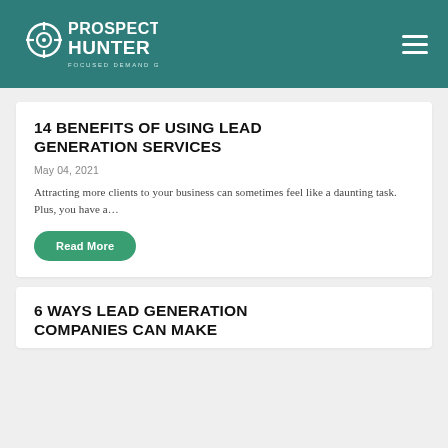[Figure (logo): Prospect Hunter logo — white text on teal background with crosshair icon. 'PROSPECT HUNTER — FOCUSED DEMAND GENERATION']
14 BENEFITS OF USING LEAD GENERATION SERVICES
May 04, 2021
Attracting more clients to your business can sometimes feel like a daunting task. Plus, you have a…
Read More
6 WAYS LEAD GENERATION COMPANIES CAN MAKE